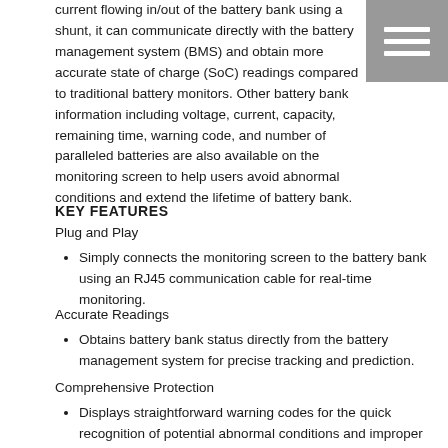current flowing in/out of the battery bank using a shunt, it can communicate directly with the battery management system (BMS) and obtain more accurate state of charge (SoC) readings compared to traditional battery monitors. Other battery bank information including voltage, current, capacity, remaining time, warning code, and number of paralleled batteries are also available on the monitoring screen to help users avoid abnormal conditions and extend the lifetime of battery bank.
KEY FEATURES
Plug and Play
Simply connects the monitoring screen to the battery bank using an RJ45 communication cable for real-time monitoring.
Accurate Readings
Obtains battery bank status directly from the battery management system for precise tracking and prediction.
Comprehensive Protection
Displays straightforward warning codes for the quick recognition of potential abnormal conditions and improper operation.
Easy Operation
Shows detailed battery bank information at the push of a button without the need of system configuration and calibration.